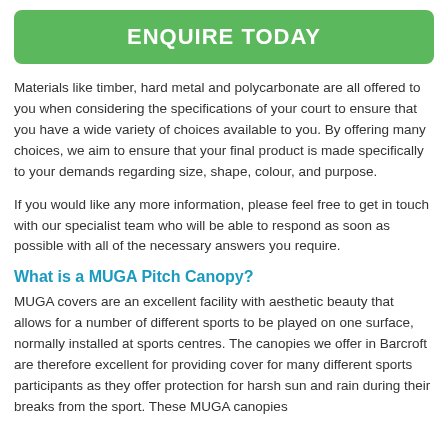ENQUIRE TODAY
Materials like timber, hard metal and polycarbonate are all offered to you when considering the specifications of your court to ensure that you have a wide variety of choices available to you. By offering many choices, we aim to ensure that your final product is made specifically to your demands regarding size, shape, colour, and purpose.
If you would like any more information, please feel free to get in touch with our specialist team who will be able to respond as soon as possible with all of the necessary answers you require.
What is a MUGA Pitch Canopy?
MUGA covers are an excellent facility with aesthetic beauty that allows for a number of different sports to be played on one surface, normally installed at sports centres. The canopies we offer in Barcroft are therefore excellent for providing cover for many different sports participants as they offer protection for harsh sun and rain during their breaks from the sport. These MUGA canopies